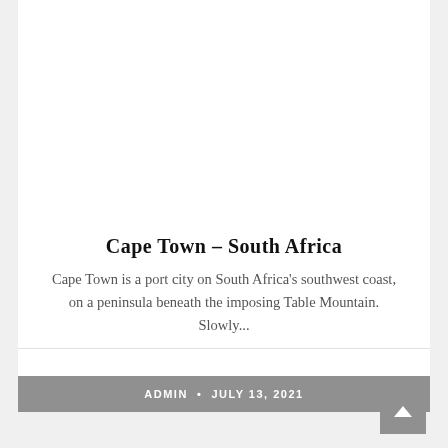Cape Town – South Africa
Cape Town is a port city on South Africa's southwest coast, on a peninsula beneath the imposing Table Mountain. Slowly...
ADMIN • JULY 13, 2021